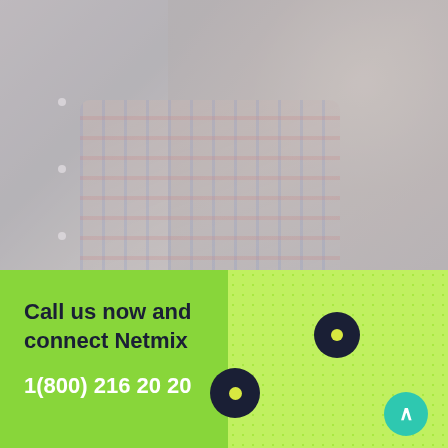[Figure (photo): Faded background photo of a young child smiling, with a colorful plaid blanket, light gray-washed overlay effect]
Call us now and connect Netmix
1(800) 216 20 20